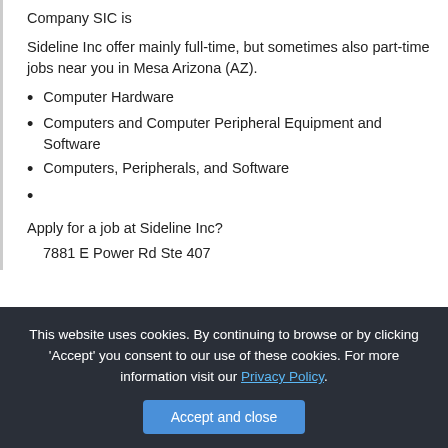Company SIC is
Sideline Inc offer mainly full-time, but sometimes also part-time jobs near you in Mesa Arizona (AZ).
Computer Hardware
Computers and Computer Peripheral Equipment and Software
Computers, Peripherals, and Software
Apply for a job at Sideline Inc?
7881 E Power Rd Ste 407
This website uses cookies. By continuing to browse or by clicking 'Accept' you consent to our use of these cookies. For more information visit our Privacy Policy.
Accept and close